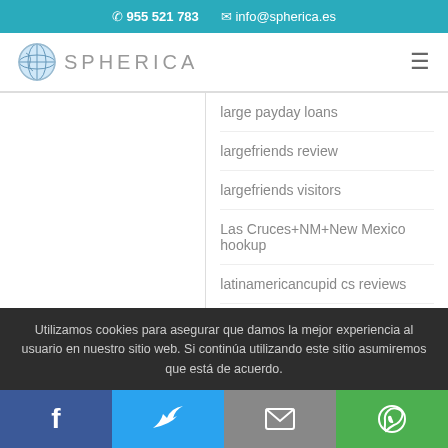📞 955 521 783   ✉ info@spherica.es
[Figure (logo): Spherica globe logo with text SPHERICA and hamburger menu icon]
large payday loans
largefriends review
largefriends visitors
Las Cruces+NM+New Mexico hookup
latinamericancupid cs reviews
Utilizamos cookies para asegurar que damos la mejor experiencia al usuario en nuestro sitio web. Si continúa utilizando este sitio asumiremos que está de acuerdo.
[Figure (infographic): Social share bar with Facebook, Twitter, Email, and WhatsApp buttons]